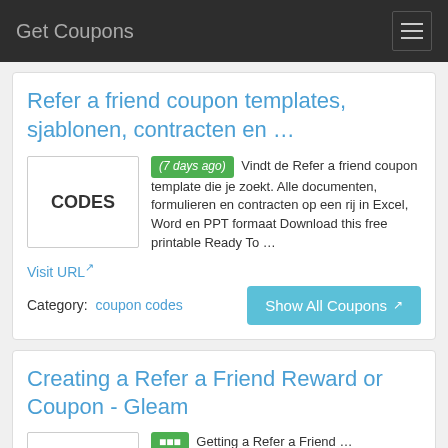Get Coupons
Refer a friend coupon templates, sjablonen, contracten en …
(7 days ago) Vindt de Refer a friend coupon template die je zoekt. Alle documenten, formulieren en contracten op een rij in Excel, Word en PPT formaat Download this free printable Ready To …
Visit URL
Category:  coupon codes
Show All Coupons
Creating a Refer a Friend Reward or Coupon - Gleam